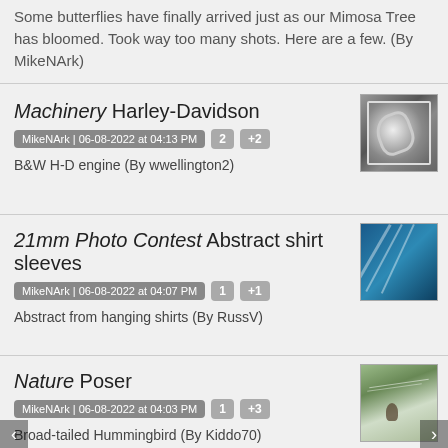Some butterflies have finally arrived just as our Mimosa Tree has bloomed. Took way too many shots. Here are a few. (By MikeNArk)
Machinery Harley-Davidson
MikeNArk | 06-08-2022 at 04:13 PM   2   +2
B&W H-D engine (By wwellington2)
[Figure (photo): Black and white photo of a Harley-Davidson engine]
21mm Photo Contest Abstract shirt sleeves
MikeNArk | 06-08-2022 at 04:07 PM   1   +1
Abstract from hanging shirts (By RussV)
[Figure (photo): Abstract photo of blue shirt sleeves]
Nature Poser
MikeNArk | 06-08-2022 at 04:03 PM   1   +3
Broad-tailed Hummingbird (By Kiddo70)
[Figure (photo): Photo of a broad-tailed hummingbird]